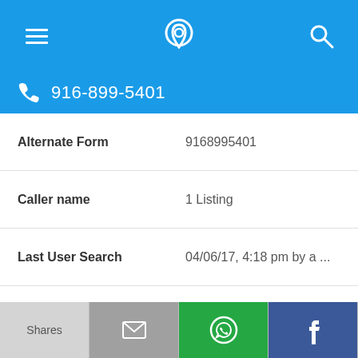916-899-5401
| Field | Value |
| --- | --- |
| Alternate Form | 9168995401 |
| Caller name | 1 Listing |
| Last User Search | 04/06/17, 4:18 pm by a ... |
| Comments | 0 |
916-899-5044
| Field | Value |
| --- | --- |
| Alternate Form | 9168995044 |
Shares | mail | WhatsApp | Facebook